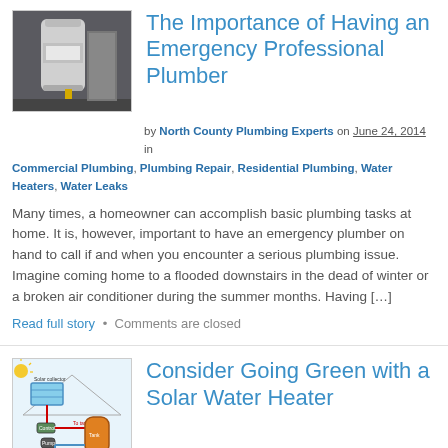[Figure (photo): Photo of a water heater in a basement/utility room with yellow pipe]
The Importance of Having an Emergency Professional Plumber
by North County Plumbing Experts on June 24, 2014 in Commercial Plumbing, Plumbing Repair, Residential Plumbing, Water Heaters, Water Leaks
Many times, a homeowner can accomplish basic plumbing tasks at home. It is, however, important to have an emergency plumber on hand to call if and when you encounter a serious plumbing issue. Imagine coming home to a flooded downstairs in the dead of winter or a broken air conditioner during the summer months. Having […]
Read full story  •  Comments are closed
[Figure (illustration): Diagram of a solar water heater system showing solar collector on roof, controller, tank, and pump connected by pipes]
Consider Going Green with a Solar Water Heater